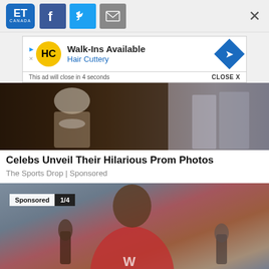[Figure (screenshot): ET Canada logo, Facebook, Twitter, and email share buttons, and close X button in a top navigation bar]
[Figure (screenshot): Hair Cuttery advertisement banner: Walk-Ins Available, Hair Cuttery. Ad close bar: This ad will close in 4 seconds | CLOSE X]
[Figure (photo): Black and white photo of a person in formal wear with flowers]
Celebs Unveil Their Hilarious Prom Photos
The Sports Drop | Sponsored
[Figure (photo): Football player in red Wisconsin jersey #13 with sports trophies. Sponsored 1/4 badge overlay.]